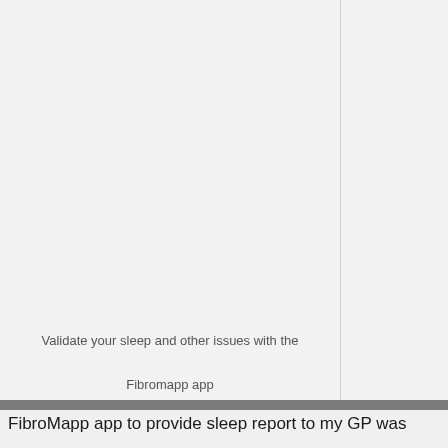[Figure (other): Large light gray blank/empty image area with a vertical divider line on the right side, representing a placeholder for an app screenshot or illustration]
Validate your sleep and other issues with the Fibromapp app
Share This ∨  ✕
FibroMapp app to provide sleep report to my GP was